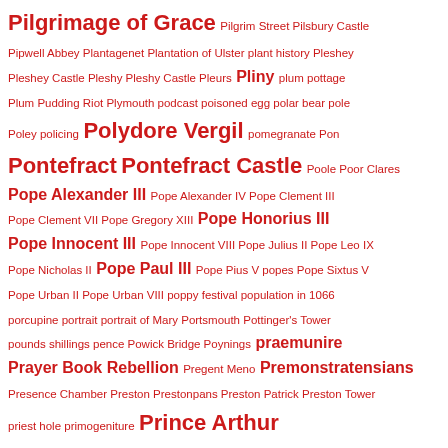Pilgrimage of Grace Pilgrim Street Pilsbury Castle Pipwell Abbey Plantagenet Plantation of Ulster plant history Pleshey Pleshey Castle Pleshy Pleshy Castle Pleurs Pliny plum pottage Plum Pudding Riot Plymouth podcast poisoned egg polar bear pole Poley policing Polydore Vergil pomegranate Pon Pontefract Pontefract Castle Poole Poor Clares Pope Alexander III Pope Alexander IV Pope Clement III Pope Clement VII Pope Gregory XIII Pope Honorius III Pope Innocent III Pope Innocent VIII Pope Julius II Pope Leo IX Pope Nicholas II Pope Paul III Pope Pius V popes Pope Sixtus V Pope Urban II Pope Urban VIII poppy festival population in 1066 porcupine portrait portrait of Mary Portsmouth Pottinger's Tower pounds shillings pence Powick Bridge Poynings praemunire Prayer Book Rebellion Pregent Meno Premonstratensians Presence Chamber Preston Prestonpans Preston Patrick Preston Tower priest hole primogeniture Prince Arthur Prince Bishops of Durham Prince Charles Prince Charles Edward Stuart Prince Edward Prince Henry